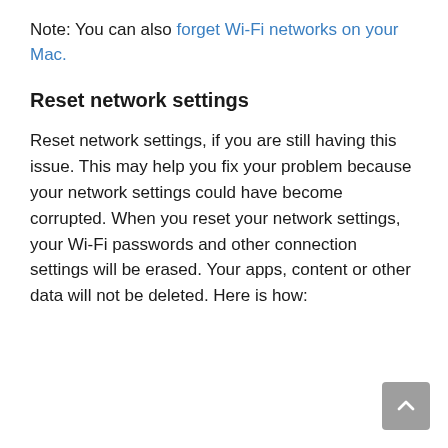Note: You can also forget Wi-Fi networks on your Mac.
Reset network settings
Reset network settings, if you are still having this issue. This may help you fix your problem because your network settings could have become corrupted. When you reset your network settings, your Wi-Fi passwords and other connection settings will be erased. Your apps, content or other data will not be deleted. Here is how: